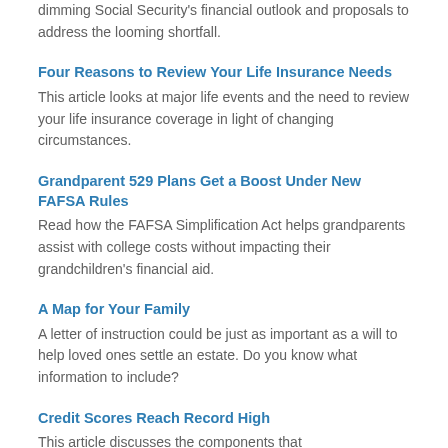This article explores demographic trends that are dimming Social Security's financial outlook and proposals to address the looming shortfall.
Four Reasons to Review Your Life Insurance Needs
This article looks at major life events and the need to review your life insurance coverage in light of changing circumstances.
Grandparent 529 Plans Get a Boost Under New FAFSA Rules
Read how the FAFSA Simplification Act helps grandparents assist with college costs without impacting their grandchildren's financial aid.
A Map for Your Family
A letter of instruction could be just as important as a will to help loved ones settle an estate. Do you know what information to include?
Credit Scores Reach Record High
This article discusses the components that